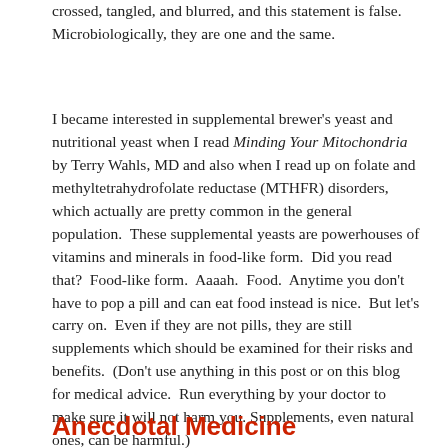crossed, tangled, and blurred, and this statement is false. Microbiologically, they are one and the same.
I became interested in supplemental brewer's yeast and nutritional yeast when I read Minding Your Mitochondria by Terry Wahls, MD and also when I read up on folate and methyltetrahydrofolate reductase (MTHFR) disorders, which actually are pretty common in the general population.  These supplemental yeasts are powerhouses of vitamins and minerals in food-like form.  Did you read that?  Food-like form.  Aaaah.  Food.  Anytime you don't have to pop a pill and can eat food instead is nice.  But let's carry on.  Even if they are not pills, they are still supplements which should be examined for their risks and benefits.  (Don't use anything in this post or on this blog for medical advice.  Run everything by your doctor to make sure it will not harm you.  Supplements, even natural ones, can be harmful.)
Anecdotal Medicine